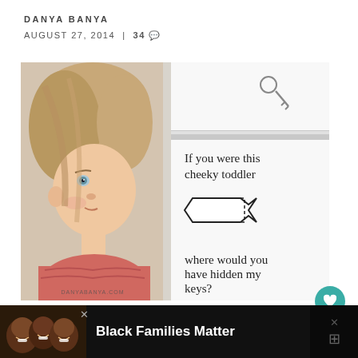DANYA BANYA
AUGUST 27, 2014 | 34 comments
[Figure (photo): Composite image: left side shows a toddler girl with blonde hair wearing a pink top, looking out a window; right side shows a white background with hand-drawn arrow pointing left and text 'If you were this cheeky toddler where would you have hidden my keys?' with a drawing of keys at top. Watermark: DANYABANYA.COM]
So I lost my keys the other day.
[Figure (infographic): Advertisement banner at bottom: 'Black Families Matter' with photo of three smiling Black children on dark background.]